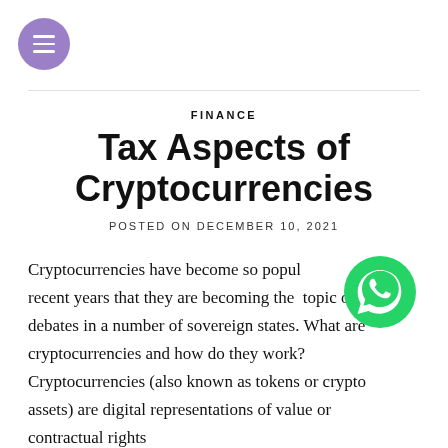[Figure (logo): Purple circular hamburger menu button icon]
FINANCE
Tax Aspects of Cryptocurrencies
POSTED ON DECEMBER 10, 2021
Cryptocurrencies have become so popular in recent years that they are becoming the topic of tax debates in a number of sovereign states. What are cryptocurrencies and how do they work? Cryptocurrencies (also known as tokens or crypto assets) are digital representations of value or contractual rights
[Figure (logo): WhatsApp green phone icon circle]